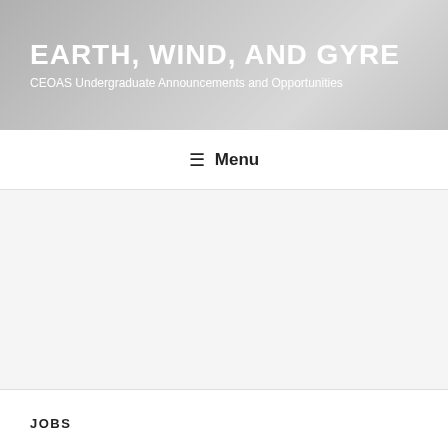EARTH, WIND, AND GYRE
CEOAS Undergraduate Announcements and Opportunities
☰ Menu
[Figure (other): Advertisement placeholder area, light gray background]
JOBS
University Student Jobs